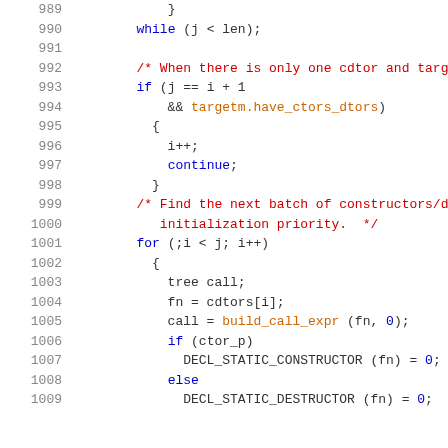Source code listing, lines 989-1009, C/C++ syntax highlighted
[Figure (screenshot): Syntax-highlighted C source code showing lines 989-1009 with line numbers on left, keywords in blue, comments in red, identifiers in orange/brown]